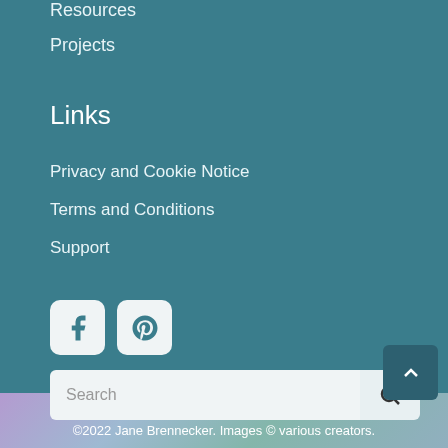Resources
Projects
Links
Privacy and Cookie Notice
Terms and Conditions
Support
[Figure (infographic): Social media icons for Facebook and Pinterest, white rounded square buttons on teal background]
[Figure (infographic): Search bar with text input and search button icon]
©2022 Jane Brennecker. Images © various creators.